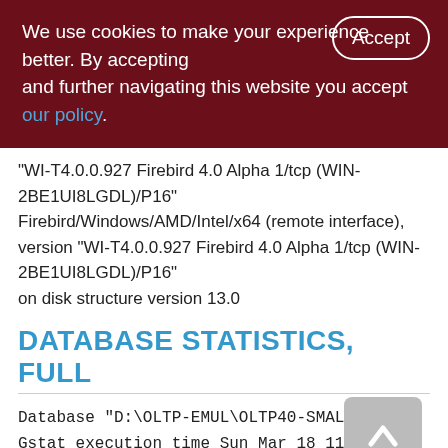We use cookies to make your experience better. By accepting and further navigating this website you accept our policy.
"WI-T4.0.0.927 Firebird 4.0 Alpha 1/tcp (WIN-2BE1UI8LGDL)/P16" Firebird/Windows/AMD/Intel/x64 (remote interface), version "WI-T4.0.0.927 Firebird 4.0 Alpha 1/tcp (WIN-2BE1UI8LGDL)/P16" on disk structure version 13.0
DATABASE STATISTICS, FULL
Database "D:\OLTP-EMUL\OLTP40-SMALL.FDB
Gstat execution time Sun Mar 18 11:45:32
2018